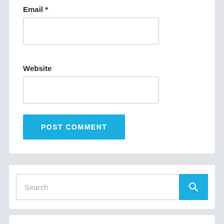Email *
[Figure (screenshot): Empty text input box for Email field]
Website
[Figure (screenshot): Empty text input box for Website field]
POST COMMENT
[Figure (screenshot): Search bar with blue search button icon]
Recent Posts
> 5 Suggestions That can Change The way in which You